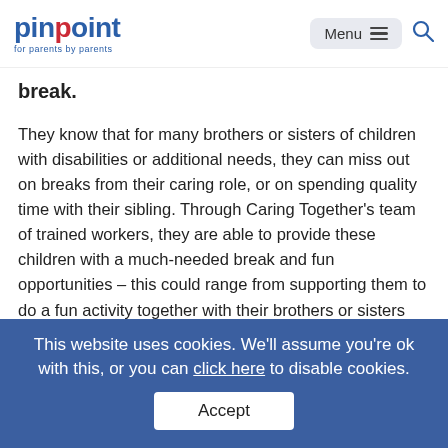pinpoint for parents by parents
break.
They know that for many brothers or sisters of children with disabilities or additional needs, they can miss out on breaks from their caring role, or on spending quality time with their sibling. Through Caring Together's team of trained workers, they are able to provide these children with a much-needed break and fun opportunities – this could range from supporting them to do a fun activity together with their brothers or sisters such as baking or cooking,
This website uses cookies. We'll assume you're ok with this, or you can click here to disable cookies.
Accept